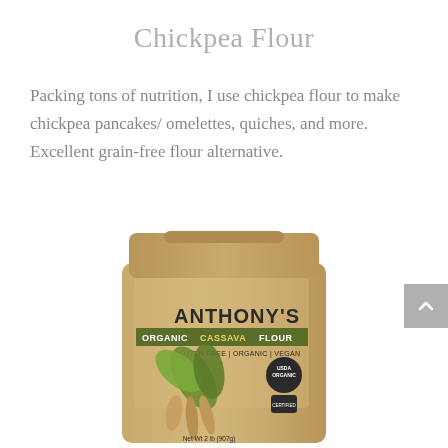Chickpea Flour
Packing tons of nutrition, I use chickpea flour to make chickpea pancakes/ omelettes, quiches, and more. Excellent grain-free flour alternative.
[Figure (photo): Anthony's Organic Cassava Flour bag, 2 lb (907g), labeled Gluten Free, Organic, Vegan, with USDA Organic seal and plant illustration]